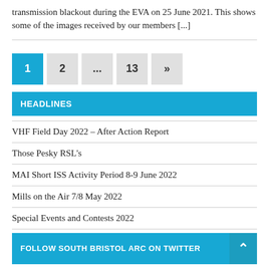transmission blackout during the EVA on 25 June 2021. This shows some of the images received by our members [...]
1
2
...
13
»
HEADLINES
VHF Field Day 2022 – After Action Report
Those Pesky RSL's
MAI Short ISS Activity Period 8-9 June 2022
Mills on the Air 7/8 May 2022
Special Events and Contests 2022
FOLLOW SOUTH BRISTOL ARC ON TWITTER